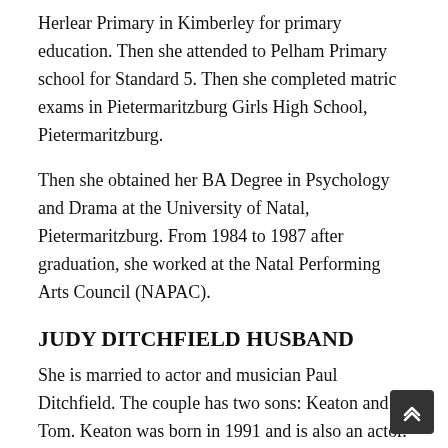Herlear Primary in Kimberley for primary education. Then she attended to Pelham Primary school for Standard 5. Then she completed matric exams in Pietermaritzburg Girls High School, Pietermaritzburg.
Then she obtained her BA Degree in Psychology and Drama at the University of Natal, Pietermaritzburg. From 1984 to 1987 after graduation, she worked at the Natal Performing Arts Council (NAPAC).
JUDY DITCHFIELD HUSBAND
She is married to actor and musician Paul Ditchfield. The couple has two sons: Keaton and Tom. Keaton was born in 1991 and is also an actor. Tom was born in 1996 and studies B.Com Law at University of Wits.
JUDY DITCHFIELD CAREER